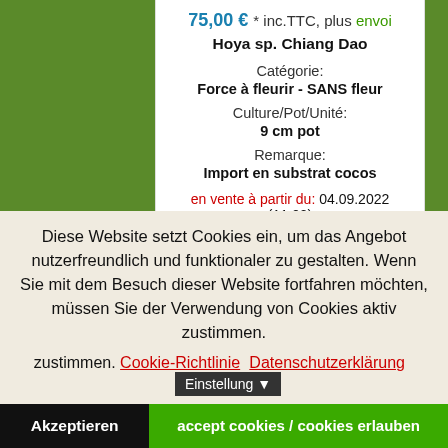75,00 € * inc.TTC, plus envoi
Hoya sp. Chiang Dao
Catégorie:
Force à fleurir - SANS fleur
Culture/Pot/Unité:
9 cm pot
Remarque:
Import en substrat cocos
en vente à partir du: 04.09.2022 (11:00)
Diese Website setzt Cookies ein, um das Angebot nutzerfreundlich und funktionaler zu gestalten. Wenn Sie mit dem Besuch dieser Website fortfahren möchten, müssen Sie der Verwendung von Cookies aktiv zustimmen. Cookie-Richtlinie  Datenschutzerklärung  Einstellung
Akzeptieren
accept cookies / cookies erlauben